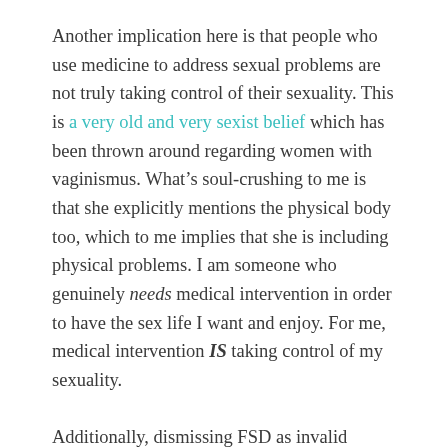Another implication here is that people who use medicine to address sexual problems are not truly taking control of their sexuality. This is a very old and very sexist belief which has been thrown around regarding women with vaginismus. What’s soul-crushing to me is that she explicitly mentions the physical body too, which to me implies that she is including physical problems. I am someone who genuinely needs medical intervention in order to have the sex life I want and enjoy. For me, medical intervention IS taking control of my sexuality.
Additionally, dismissing FSD as invalid overlooks the intersection of asexuals with sexual dysfunctions. This isn’t necessarily an either/or situation; It’s possible for both to exist at the same time, even within the same person. Whether or not HSDD specifically and